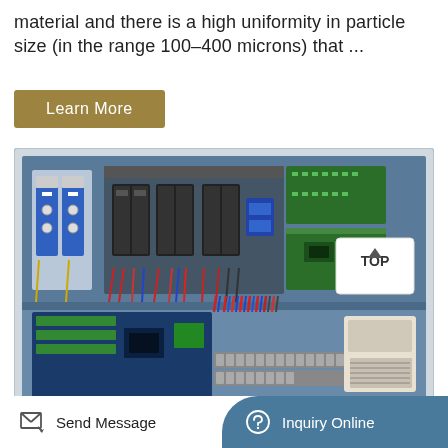material and there is a high uniformity in particle size (in the range 100–400 microns) that ...
Learn More
[Figure (photo): Interior view of an electrical control panel box showing circuit breakers, relay boards, terminal blocks, wiring harnesses with red, blue, and black cables, green PCB boards, and a power supply unit. Labeled with a 'TOP' navigation button in the upper right corner.]
Send Message   Inquiry Online